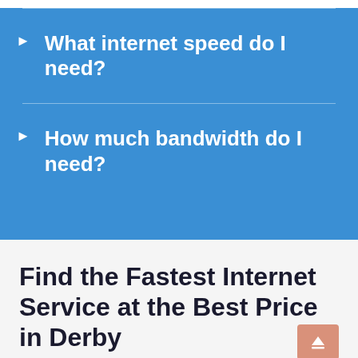What internet speed do I need?
How much bandwidth do I need?
Find the Fastest Internet Service at the Best Price in Derby